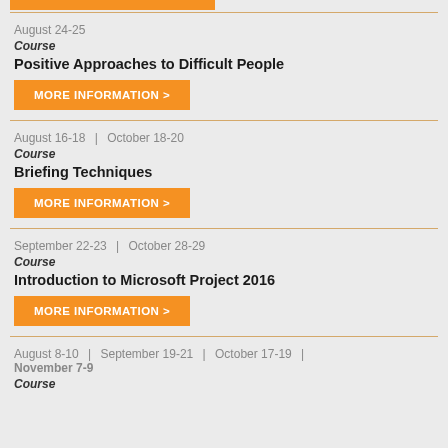August 24-25 | Course | Positive Approaches to Difficult People
August 16-18 | October 18-20 | Course | Briefing Techniques
September 22-23 | October 28-29 | Course | Introduction to Microsoft Project 2016
August 8-10 | September 19-21 | October 17-19 | November 7-9 | Course